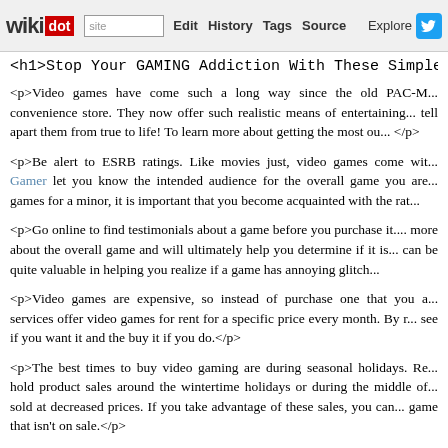wikidot | site | Edit | History | Tags | Source | Explore | Share on Twitter
<h1>Stop Your GAMING Addiction With These Simple Tips</h1>
<p>Video games have come such a long way since the old PAC-M... convenience store. They now offer such realistic means of entertaining... tell apart them from true to life! To learn more about getting the most ou... </p>
<p>Be alert to ESRB ratings. Like movies just, video games come wit... Gamer let you know the intended audience for the overall game you are... games for a minor, it is important that you become acquainted with the rat...</p>
<p>Go online to find testimonials about a game before you purchase it.... more about the overall game and will ultimately help you determine if it is... can be quite valuable in helping you realize if a game has annoying glitch...</p>
<p>Video games are expensive, so instead of purchase one that you a... services offer video games for rent for a specific price every month. By r... see if you want it and the buy it if you do.</p>
<p>The best times to buy video gaming are during seasonal holidays. Re... hold product sales around the wintertime holidays or during the middle of... sold at decreased prices. If you take advantage of these sales, you can... game that isn't on sale.</p>
<p>Spend a couple hours each day playing games. Video games are ad... addicted. Limit your gaming time to several hours a full day. If How VID... cannot stand to play only 1 short session per day, make certain a break... hours.</p>